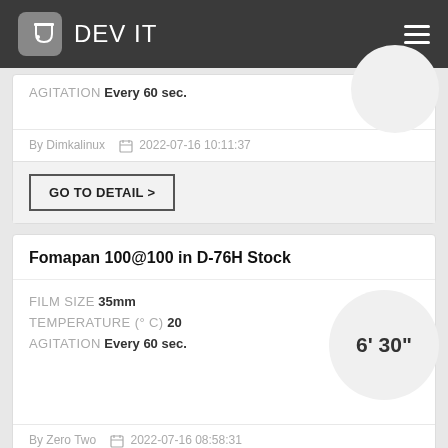DEV IT
AGITATION Every 60 sec.
By Dimkalinux   2022-07-16 10:11:37
GO TO DETAIL >
Fomapan 100@100 in D-76H Stock
FILM SIZE 35mm
TEMPERATURE (° C) 20
AGITATION Every 60 sec.
6' 30"
By Zero Two   2022-07-16 08:58:31